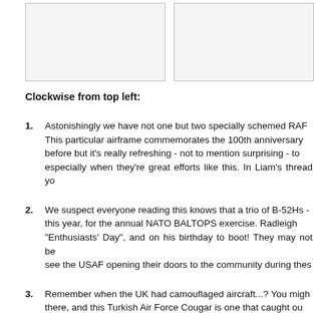[Figure (photo): Two photo placeholders side by side at top of page]
Clockwise from top left:
1. Astonishingly we have not one but two specially schemed RAF... This particular airframe commemorates the 100th anniversary... before but it's really refreshing - not to mention surprising - to... especially when they're great efforts like this. In Liam's thread yo...
2. We suspect everyone reading this knows that a trio of B-52Hs -... this year, for the annual NATO BALTOPS exercise. Radleigh... "Enthusiasts' Day", and on his birthday to boot! They may not be... see the USAF opening their doors to the community during thes...
3. Remember when the UK had camouflaged aircraft...? You migh... there, and this Turkish Air Force Cougar is one that caught ou... have served Turkey since 2000, this one attending the semiann...